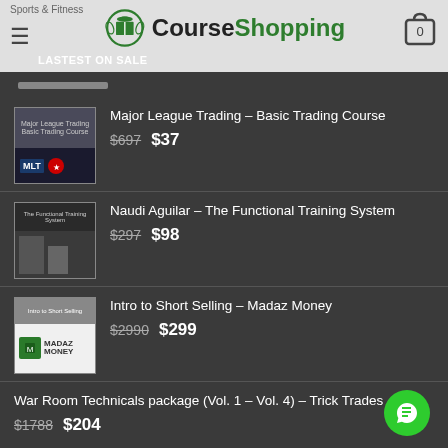CourseShopping — Sports & Fitness
LASTEST ON SALE
Major League Trading – Basic Trading Course $697 $37
Naudi Aguilar – The Functional Training System $297 $98
Intro to Short Selling – Madaz Money $2990 $299
War Room Technicals package (Vol. 1 – Vol. 4) – Trick Trades $1788 $204